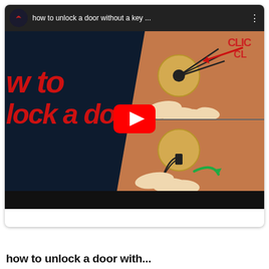[Figure (screenshot): YouTube video thumbnail and player UI showing a video titled 'how to unlock a door without a key ...' with illustrated steps of picking a door lock using bobby pins. Left side has dark background with red italic text 'w to' and 'lock a door', right side shows two illustration panels of a door lock being picked. A YouTube play button is centered over the image.]
how to unlock a door with...